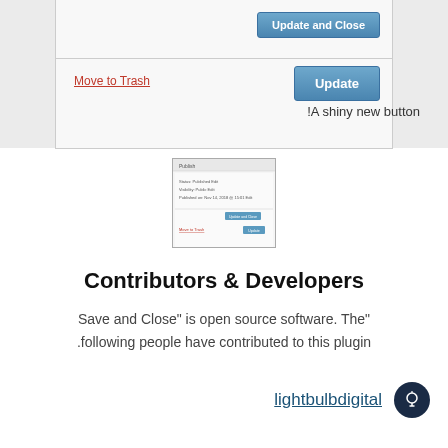[Figure (screenshot): WordPress publish panel screenshot showing Update and Close button, Move to Trash link, and Update button]
!A shiny new button
[Figure (screenshot): Small thumbnail of the WordPress Publish panel with Update and Close and Update buttons and Move to Trash link]
Contributors & Developers
"Save and Close" is open source software. The following people have contributed to this plugin.
lightbulbdigital